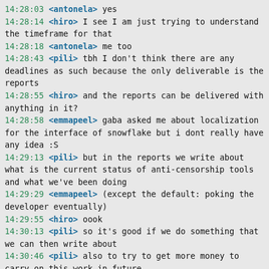14:28:03 <antonela> yes
14:28:14 <hiro> I see I am just trying to understand the timeframe for that
14:28:18 <antonela> me too
14:28:43 <pili> tbh I don't think there are any deadlines as such because the only deliverable is the reports
14:28:55 <hiro> and the reports can be delivered with anything in it?
14:28:58 <emmapeel> gaba asked me about localization for the interface of snowflake but i dont really have any idea :S
14:29:13 <pili> but in the reports we write about what is the current status of anti-censorship tools and what we've been doing
14:29:29 <emmapeel> (except the default: poking the developer eventually)
14:29:55 <hiro> oook
14:30:13 <pili> so it's good if we do something that we can then write about
14:30:46 <pili> also to try to get more money to carry on this work in future
14:31:59 <antonela> mmm
14:32:41 <antonela> ok? ha - i hope we can talk about this questions during the meeting
14:32:41 <hiro> I see
14:32:53 <pili> end date for this grant is end of May 2019 according to granthub
14:33:08 <pili> I was a bit confused about this because I also saw end of March in contract